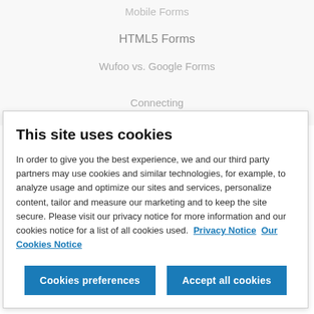Mobile Forms
HTML5 Forms
Wufoo vs. Google Forms
This site uses cookies
In order to give you the best experience, we and our third party partners may use cookies and similar technologies, for example, to analyze usage and optimize our sites and services, personalize content, tailor and measure our marketing and to keep the site secure. Please visit our privacy notice for more information and our cookies notice for a list of all cookies used.  Privacy Notice  Our Cookies Notice
Cookies preferences
Accept all cookies